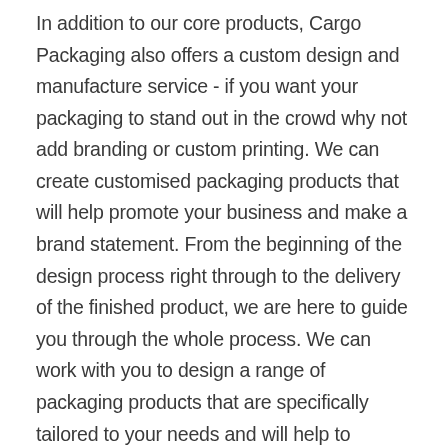In addition to our core products, Cargo Packaging also offers a custom design and manufacture service - if you want your packaging to stand out in the crowd why not add branding or custom printing. We can create customised packaging products that will help promote your business and make a brand statement. From the beginning of the design process right through to the delivery of the finished product, we are here to guide you through the whole process. We can work with you to design a range of packaging products that are specifically tailored to your needs and will help to increase sales, and to decrease costs. If you are looking for good quality affordable packaging